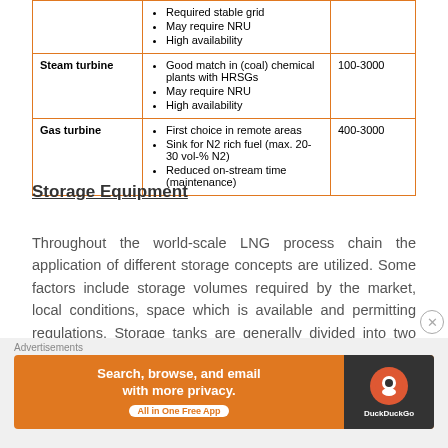|  | Features/Characteristics | Power Output (kW) |
| --- | --- | --- |
|  | Required stable grid
May require NRU
High availability |  |
| Steam turbine | Good match in (coal) chemical plants with HRSGs
May require NRU
High availability | 100-3000 |
| Gas turbine | First choice in remote areas
Sink for N2 rich fuel (max. 20-30 vol-% N2)
Reduced on-stream time (maintenance) | 400-3000 |
Storage Equipment
Throughout the world-scale LNG process chain the application of different storage concepts are utilized. Some factors include storage volumes required by the market, local conditions, space which is available and permitting regulations. Storage tanks are generally divided into two sub categories, atmospheric and